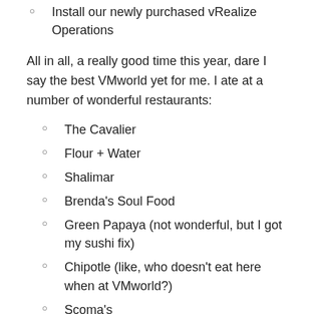Install our newly purchased vRealize Operations
All in all,  a really good time this year, dare I say the best VMworld yet for me.  I ate at a number of wonderful restaurants:
The Cavalier
Flour + Water
Shalimar
Brenda's Soul Food
Green Papaya (not wonderful, but I got my sushi fix)
Chipotle (like, who doesn't eat here when at VMworld?)
Scoma's
Ghirardelli's